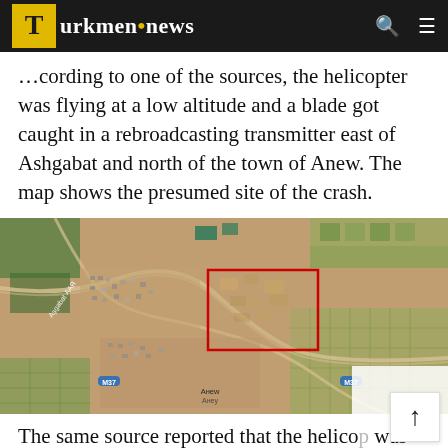Turkmen.news
…cording to one of the sources, the helicopter was flying at a low altitude and a blade got caught in a rebroadcasting transmitter east of Ashgabat and north of the town of Anew. The map shows the presumed site of the crash.
[Figure (map): Satellite/aerial map image showing a bird's-eye view of the area east of Ashgabat and north of Anew, Turkmenistan. A red rectangle marks the presumed crash site. Road labels include M37 highways and Cyrillic text. The area shows agricultural fields, settlements, and roads.]
The same source reported that the helico… was part of the escort guarding the president…